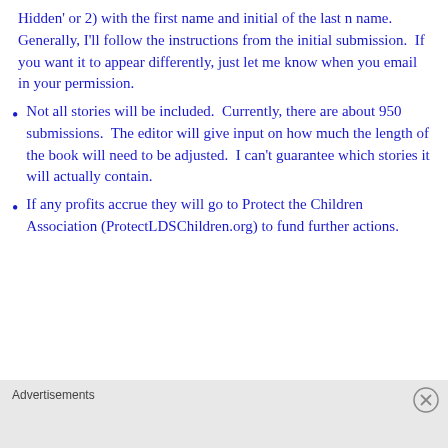Hidden' or 2) with the first name and initial of the last n name.  Generally, I'll follow the instructions from the initial submission.  If you want it to appear differently, just let me know when you email in your permission.
Not all stories will be included.  Currently, there are about 950 submissions.  The editor will give input on how much the length of the book will need to be adjusted.  I can't guarantee which stories it will actually contain.
If any profits accrue they will go to Protect the Children Association (ProtectLDSChildren.org) to fund further actions.
Advertisements